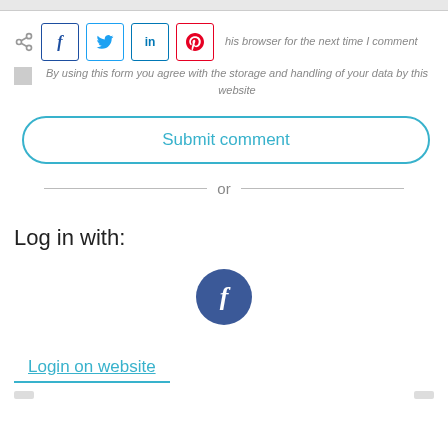[Figure (screenshot): Top gray bar representing a form field or browser chrome area]
[Figure (screenshot): Social share buttons row with Facebook (f), Twitter (bird), LinkedIn (in), Pinterest (p) icons, followed by italic text: 'his browser for the next time I comment']
By using this form you agree with the storage and handling of your data by this website
Submit comment
or
Log in with:
[Figure (logo): Facebook circular logo — dark blue circle with white 'f' letter in center]
Login on website